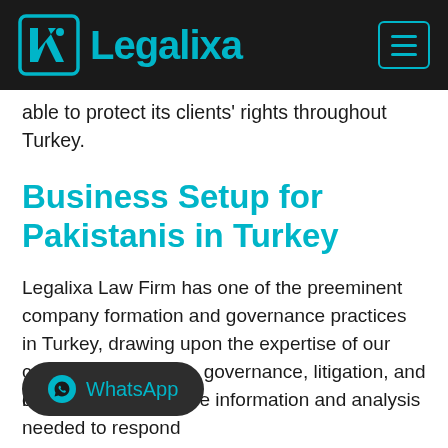Legalixa
able to protect its clients' rights throughout Turkey.
Business Setup for Pakistanis in Turkey
Legalixa Law Firm has one of the preeminent company formation and governance practices in Turkey, drawing upon the expertise of our corporate, securities, governance, litigation, and compensation ... ide our clients with the information and analysis needed to respond